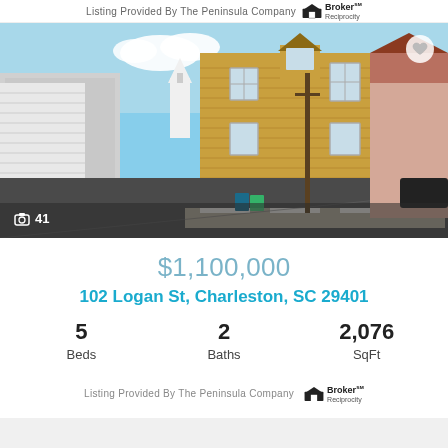Listing Provided By The Peninsula Company [Broker Reciprocity logo]
[Figure (photo): Street-level photo of a yellow two-story house with red door at corner lot in Charleston, SC. A white church steeple visible in background. Blue sky with clouds. Photo count badge showing 41. Heart/favorite icon top right.]
$1,100,000
102 Logan St, Charleston, SC 29401
5 Beds  2 Baths  2,076 SqFt
Listing Provided By The Peninsula Company [Broker Reciprocity logo]